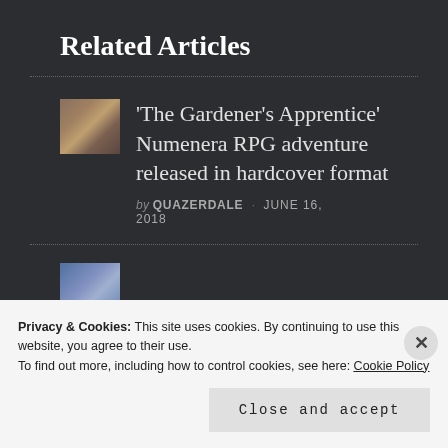Related Articles
[Figure (photo): Thumbnail image for article about The Gardener's Apprentice Numenera RPG]
'The Gardener's Apprentice' Numenera RPG adventure released in hardcover format
by QUAZERDALE · JUNE 16, 2018
[Figure (photo): Thumbnail image for second related article]
Privacy & Cookies: This site uses cookies. By continuing to use this website, you agree to their use.
To find out more, including how to control cookies, see here: Cookie Policy
Close and accept